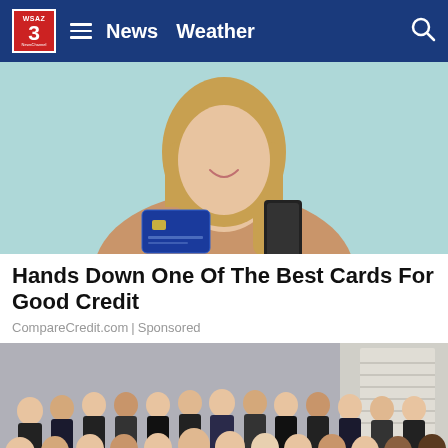WSAZ 3 | News  Weather
[Figure (photo): Young smiling woman holding a blue credit card in one hand and a smartphone in the other, standing against a light teal background, wearing a tan long-sleeve top]
Hands Down One Of The Best Cards For Good Credit
CompareCredit.com | Sponsored
[Figure (photo): Group photo of approximately 25 young professionals in business formal attire posing together in an office or conference room setting]